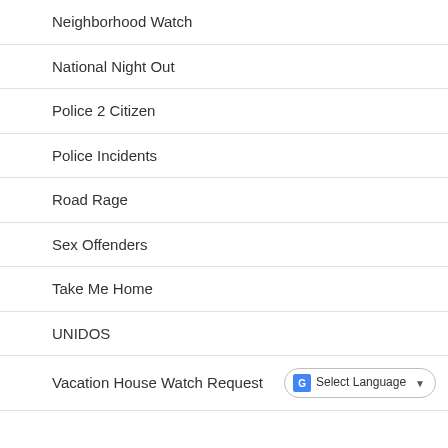Neighborhood Watch
National Night Out
Police 2 Citizen
Police Incidents
Road Rage
Sex Offenders
Take Me Home
UNIDOS
Vacation House Watch Request